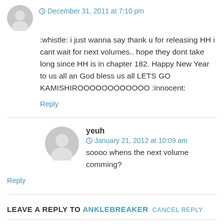December 31, 2011 at 7:10 pm — :whistle: i just wanna say thank u for releasing HH i cant wait for next volumes.. hope they dont take long since HH is in chapter 182. Happy New Year to us all an God bless us all LETS GO KAMISHIROOOOOOOOOOOO :innocent:
Reply
yeuh
January 21, 2012 at 10:09 am
soooo whens the next volume comming?
Reply
LEAVE A REPLY TO ANKLEBREAKER CANCEL REPLY